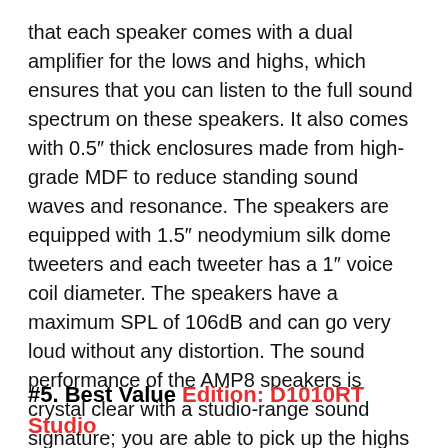that each speaker comes with a dual amplifier for the lows and highs, which ensures that you can listen to the full sound spectrum on these speakers. It also comes with 0.5″ thick enclosures made from high-grade MDF to reduce standing sound waves and resonance. The speakers are equipped with 1.5″ neodymium silk dome tweeters and each tweeter has a 1″ voice coil diameter. The speakers have a maximum SPL of 106dB and can go very loud without any distortion. The sound performance of the AMP8 speakers is crystal clear with a studio-range sound signature; you are able to pick up the highs and vocals with pristine clarity. The bass output on these speakers also goes deep and adds a layer of texture to the overall music quality without sounding too overwhelming. They are some of the best studio monitor speakers for mixing and recording and we definitely recommend them for high-end setups.
#5. Best Value Edition: D1010RT Studio